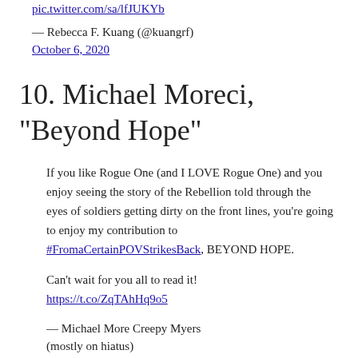pic.twitter.com/sa/lfJUKYb
— Rebecca F. Kuang (@kuangrf) October 6, 2020
10. Michael Moreci, "Beyond Hope"
If you like Rogue One (and I LOVE Rogue One) and you enjoy seeing the story of the Rebellion told through the eyes of soldiers getting dirty on the front lines, you're going to enjoy my contribution to #FromACertainPOVStrikesBack, BEYOND HOPE.
Can't wait for you all to read it! https://t.co/ZqTAhHq9o5
— Michael More Creepy Myers (mostly on hiatus)